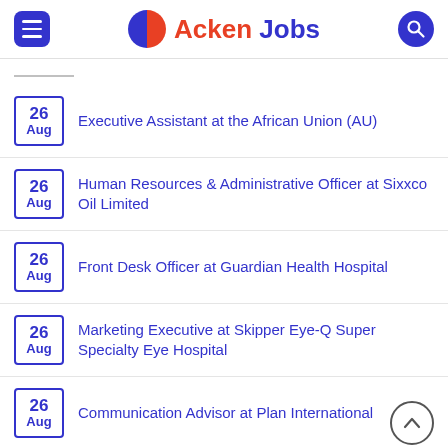Acken Jobs
26 Aug – Executive Assistant at the African Union (AU)
26 Aug – Human Resources & Administrative Officer at Sixxco Oil Limited
26 Aug – Front Desk Officer at Guardian Health Hospital
26 Aug – Marketing Executive at Skipper Eye-Q Super Specialty Eye Hospital
26 Aug – Communication Advisor at Plan International